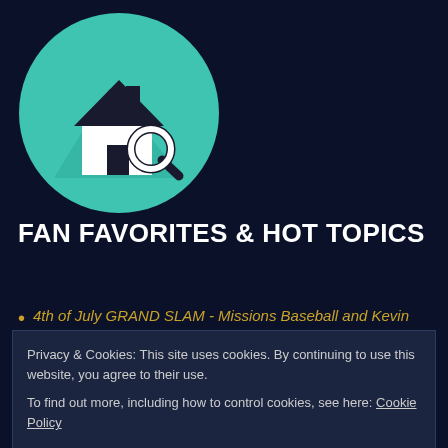[Figure (logo): Teal circular icon with a white house and magnifying glass, with a long shadow effect on a dark navy background]
FAN FAVORITES & HOT TOPICS
4th of July GRAND SLAM - Missions Baseball and Kevin
Privacy & Cookies: This site uses cookies. By continuing to use this website, you agree to their use.
To find out more, including how to control cookies, see here: Cookie Policy
Close and accept
WHAT IS AN OPTION PERIOD AND OPTION FEE?